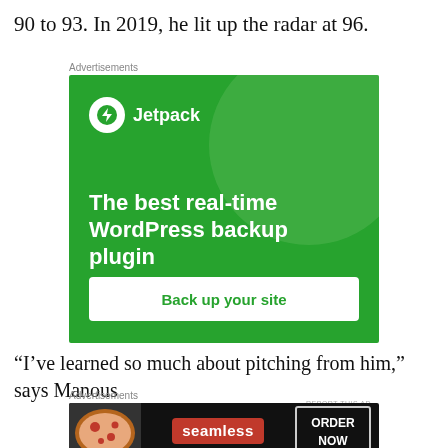90 to 93. In 2019, he lit up the radar at 96.
[Figure (other): Jetpack advertisement banner: green background with large lighter green circle, Jetpack logo (lightning bolt in white circle) and brand name, headline 'The best real-time WordPress backup plugin', and white button 'Back up your site']
“I’ve learned so much about pitching from him,” says Manous
[Figure (other): Seamless food delivery advertisement: dark background with pizza image on left, red Seamless logo in center, and 'ORDER NOW' button on right]